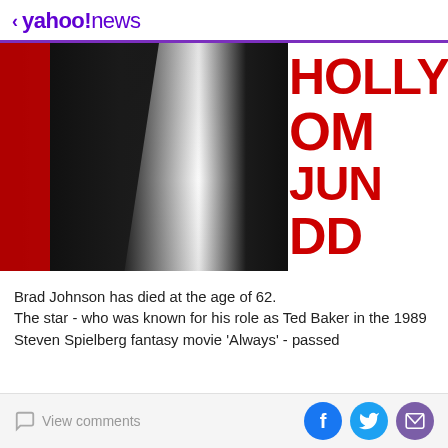< yahoo!news
[Figure (photo): A man wearing a black blazer over a white open-collar dress shirt, photographed at a Hollywood event. A red and white sign with partial text 'HOLLY', 'OM', 'JUN', 'DD' is visible in the background.]
Brad Johnson has died at the age of 62.
The star - who was known for his role as Ted Baker in the 1989 Steven Spielberg fantasy movie 'Always' - passed
View comments